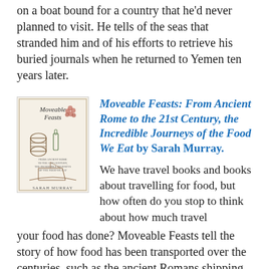on a boat bound for a country that he'd never planned to visit. He tells of the seas that stranded him and of his efforts to retrieve his buried journals when he returned to Yemen ten years later.
[Figure (illustration): Book cover of 'Moveable Feasts' by Sarah Murray, showing illustrations of food and travel items on a cream background]
Moveable Feasts: From Ancient Rome to the 21st Century, the Incredible Journeys of the Food We Eat by Sarah Murray.
We have travel books and books about travelling for food, but how often do you stop to think about how much travel your food has done? Moveable Feasts tell the story of how food has been transported over the centuries, such as the ancient Romans shipping